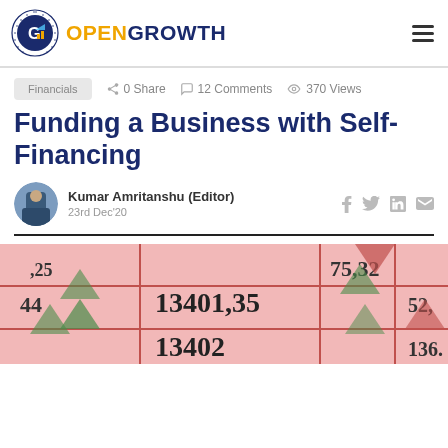OPENGROWTH
Financials   0 Share   12 Comments   370 Views
Funding a Business with Self-Financing
Kumar Amritanshu (Editor)
23rd Dec'20
[Figure (photo): Close-up of a financial spreadsheet or lottery ticket showing numbers including 13401,35 and 13402 with decorative Christmas tree graphics on a pink background]